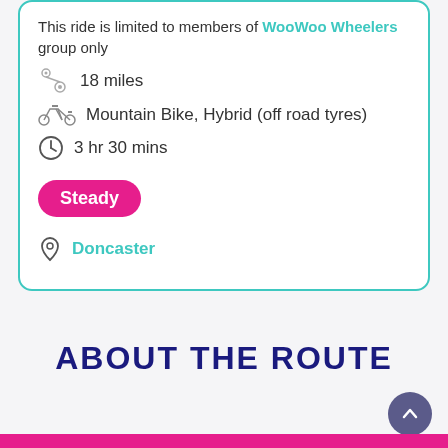This ride is limited to members of WooWoo Wheelers group only
18 miles
Mountain Bike, Hybrid (off road tyres)
3 hr 30 mins
Steady
Doncaster
ABOUT THE ROUTE